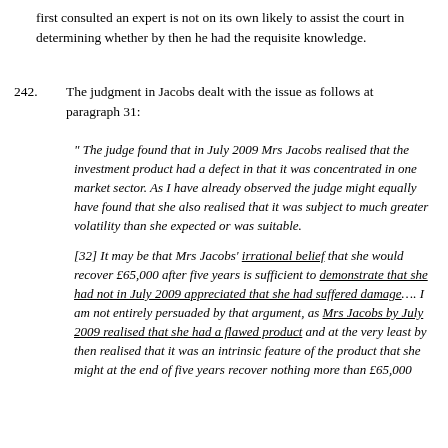first consulted an expert is not on its own likely to assist the court in determining whether by then he had the requisite knowledge.
242. The judgment in Jacobs dealt with the issue as follows at paragraph 31:
" The judge found that in July 2009 Mrs Jacobs realised that the investment product had a defect in that it was concentrated in one market sector. As I have already observed the judge might equally have found that she also realised that it was subject to much greater volatility than she expected or was suitable.

[32] It may be that Mrs Jacobs' irrational belief that she would recover £65,000 after five years is sufficient to demonstrate that she had not in July 2009 appreciated that she had suffered damage…. I am not entirely persuaded by that argument, as Mrs Jacobs by July 2009 realised that she had a flawed product and at the very least by then realised that it was an intrinsic feature of the product that she might at the end of five years recover nothing more than £65,000